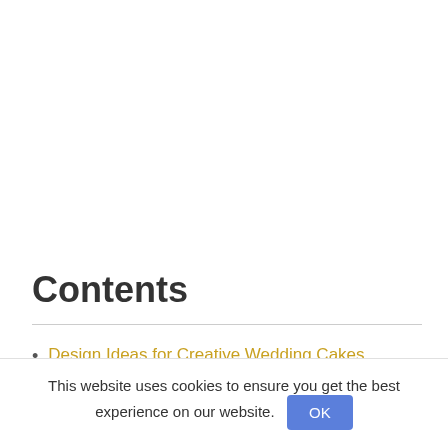Contents
Design Ideas for Creative Wedding Cakes
This website uses cookies to ensure you get the best experience on our website.